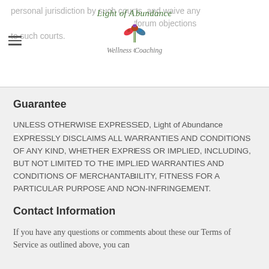personal jurisdiction by such courts, and waive any jurisdictional, venue, forum objections to such courts.
[Figure (logo): Light of Abundance Wellness Coaching logo with italic script text and a small plant/leaf icon]
Guarantee
UNLESS OTHERWISE EXPRESSED, Light of Abundance EXPRESSLY DISCLAIMS ALL WARRANTIES AND CONDITIONS OF ANY KIND, WHETHER EXPRESS OR IMPLIED, INCLUDING, BUT NOT LIMITED TO THE IMPLIED WARRANTIES AND CONDITIONS OF MERCHANTABILITY, FITNESS FOR A PARTICULAR PURPOSE AND NON-INFRINGEMENT.
Contact Information
If you have any questions or comments about these our Terms of Service as outlined above, you can